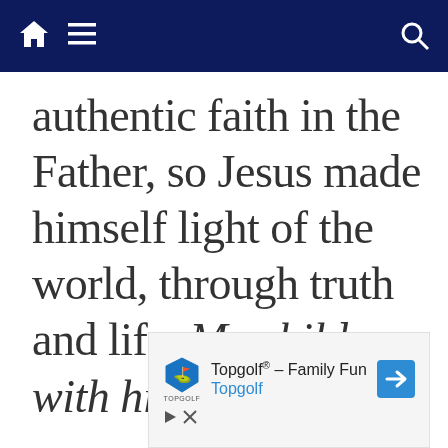Navigation bar with home, menu, and search icons
authentic faith in the Father, so Jesus made himself light of the world, through truth and life. My children, with his love and
[Figure (screenshot): Advertisement for Topgolf - Family Fun with Topgolf logo, blue arrow icon, play and close buttons]